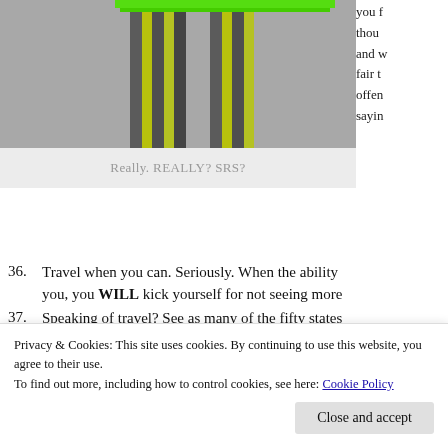[Figure (photo): Photo of striped legs (green and black) on a gray surface, with a green bar at top]
Really. REALLY? SRS?
you f though and w fair to offen sayin
36. Travel when you can. Seriously. When the ability you, you WILL kick yourself for not seeing more
37. Speaking of travel? See as many of the fifty states United States. If you're in Canada, Europe, etc., se
38. Go to separ Tropi
[Figure (photo): Close-up photo of handwritten or printed cursive black text on white background]
Privacy & Cookies: This site uses cookies. By continuing to use this website, you agree to their use. To find out more, including how to control cookies, see here: Cookie Policy